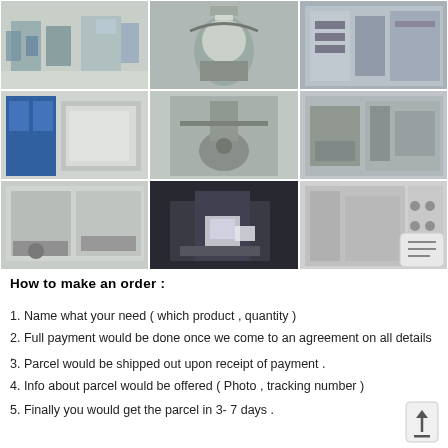[Figure (photo): 3x3 grid of laboratory and industrial facility photos showing lab benches, equipment, fume hoods, bioreactors, water purification systems, and analytical instruments]
How to make an order :
1. Name what your need ( which product , quantity )
2. Full payment would be done once we come to an agreement on all details .
3. Parcel would be shipped out upon receipt of payment .
4. Info about parcel would be offered ( Photo , tracking number )
5. Finally you would get the parcel in 3- 7 days .